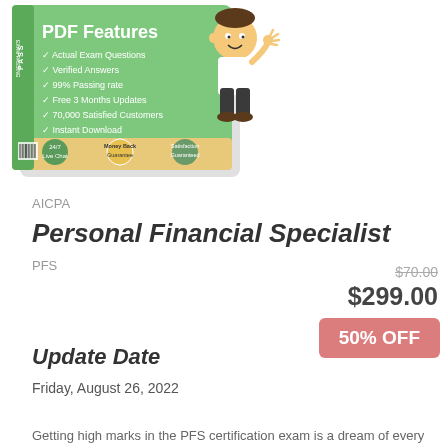[Figure (illustration): Product box illustration showing PDF Features with checkmarks listing: Actual Exam Questions, Verified Answers, 99% Passing rate, Free 3 Months Updates, 70,000 Satisfied Customers, Instant Download. A cartoon boy figure appears on the right side of the box. Bottom shows 24/7 Live Chat, Money Back Guarantee, Satisfaction Guaranteed icons.]
AICPA
Personal Financial Specialist
PFS
$70.00
$299.00
50% OFF
Update Date
Friday, August 26, 2022
Getting high marks in the PFS certification exam is a dream of every